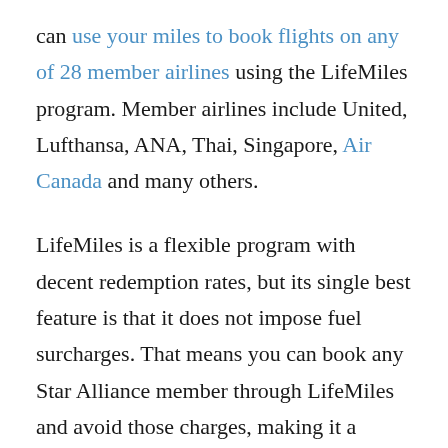can use your miles to book flights on any of 28 member airlines using the LifeMiles program. Member airlines include United, Lufthansa, ANA, Thai, Singapore, Air Canada and many others.
LifeMiles is a flexible program with decent redemption rates, but its single best feature is that it does not impose fuel surcharges. That means you can book any Star Alliance member through LifeMiles and avoid those charges, making it a valuable program.
You can book one-way award flights for half the cost of roundtrip tickets, pay for up to 60 percent of a ticket with cash and mix cabins on award itineraries.